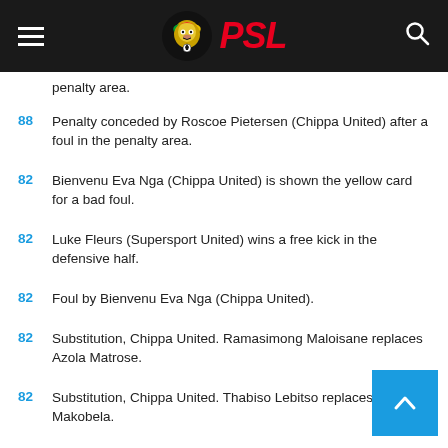PSL
penalty area.
88 - Penalty conceded by Roscoe Pietersen (Chippa United) after a foul in the penalty area.
82 - Bienvenu Eva Nga (Chippa United) is shown the yellow card for a bad foul.
82 - Luke Fleurs (Supersport United) wins a free kick in the defensive half.
82 - Foul by Bienvenu Eva Nga (Chippa United).
82 - Substitution, Chippa United. Ramasimong Maloisane replaces Azola Matrose.
82 - Substitution, Chippa United. Thabiso Lebitso replaces Tebogo Makobela.
81 - Attempt missed. Thalente Mbatha (Supersport United) right foot shot from outside the box to the right side of the goal.